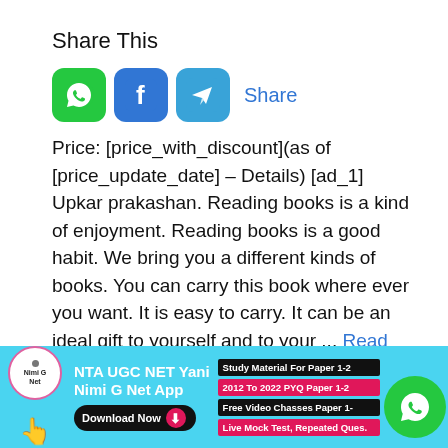Share This
[Figure (infographic): Social share icons: WhatsApp (green), Facebook (blue), Telegram (light blue), and a 'Share' text link in blue]
Price: [price_with_discount](as of [price_update_date] – Details) [ad_1] Upkar prakashan. Reading books is a kind of enjoyment. Reading books is a good habit. We bring you a different kinds of books. You can carry this book where ever you want. It is easy to carry. It can be an ideal gift to yourself and to your ... Read more
[Figure (infographic): Ad banner for NTA UGC NET Nimi G Net App. Yellow logo circle, text 'NTA UGC NET Yani Nimi G Net App', Download Now button, and feature tags: Study Material For Paper 1-2, 2012 To 2022 PYQ Paper 1-2, Free Video Classes Paper 1-, Live Mock Test Repeated Ques. WhatsApp icon on right.]